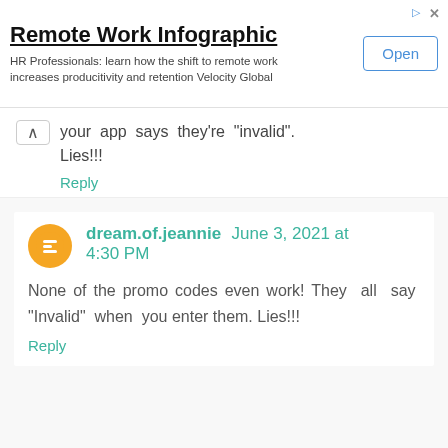[Figure (infographic): Advertisement banner for Remote Work Infographic by Velocity Global with Open button]
your app says they’re “invalid”. Lies!!!
Reply
dream.of.jeannie June 3, 2021 at 4:30 PM
None of the promo codes even work! They all say “Invalid” when you enter them. Lies!!!
Reply